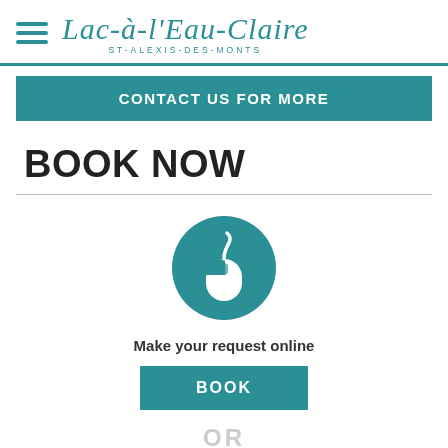Lac-à-l'Eau-Claire ST-ALEXIS-DES-MONTS
CONTACT US FOR MORE
BOOK NOW
[Figure (illustration): Teal circle with white computer mouse icon in the center]
Make your request online
BOOK
OR